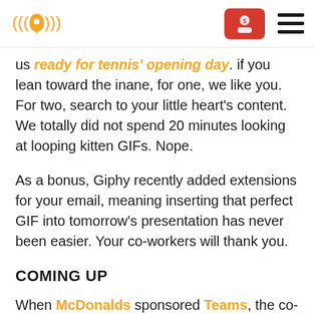[Logo: location pin with sound waves] [Red button with user/dollar icon] [Hamburger menu]
us ready for tennis' opening day. if you lean toward the inane, for one, we like you. For two, search to your little heart's content. We totally did not spend 20 minutes looking at looping kitten GIFs. Nope.
As a bonus, Giphy recently added extensions for your email, meaning inserting that perfect GIF into tomorrow's presentation has never been easier. Your co-workers will thank you.
COMING UP
When McDonalds sponsored Teams, the co-